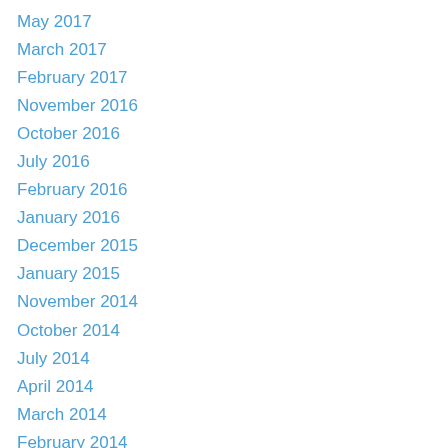May 2017
March 2017
February 2017
November 2016
October 2016
July 2016
February 2016
January 2016
December 2015
January 2015
November 2014
October 2014
July 2014
April 2014
March 2014
February 2014
January 2014
December 2013
June 2013
March 2012